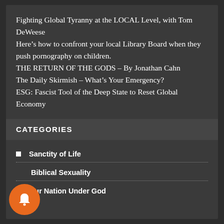Fighting Global Tyranny at the LOCAL Level, with Tom DeWeese
Here’s how to confront your local Library Board when they push pornography on children.
THE RETURN OF THE GODS – By Jonathan Cahn
The Daily Skirmish – What’s Your Emergency?
ESG: Fascist Tool of the Deep State to Reset Global Economy
CATEGORIES
Sanctity of Life
Biblical Sexuality
Our Nation Under God